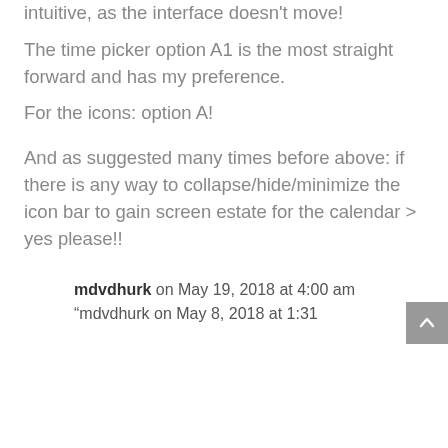intuitive, as the interface doesn't move! The time picker option A1 is the most straight forward and has my preference. For the icons: option A!
And as suggested many times before above: if there is any way to collapse/hide/minimize the icon bar to gain screen estate for the calendar > yes please!!
mdvdhurk on May 19, 2018 at 4:00 am
“mdvdhurk on May 8, 2018 at 1:31